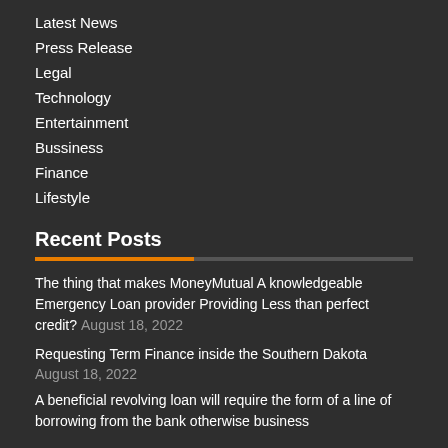Latest News
Press Release
Legal
Technology
Entertainment
Bussiness
Finance
Lifestyle
Recent Posts
The thing that makes MoneyMutual A knowledgeable Emergency Loan provider Providing Less than perfect credit? August 18, 2022
Requesting Term Finance inside the Southern Dakota August 18, 2022
A beneficial revolving loan will require the form of a line of borrowing from the bank otherwise business